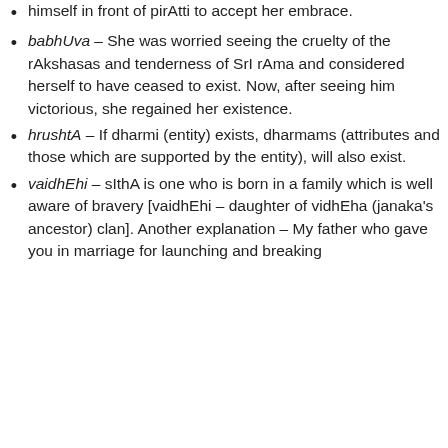himself in front of pirAtti to accept her embrace.
babhUva – She was worried seeing the cruelty of the rAkshasas and tenderness of SrI rAma and considered herself to have ceased to exist. Now, after seeing him victorious, she regained her existence.
hrushtA – If dharmi (entity) exists, dharmams (attributes and those which are supported by the entity), will also exist.
vaidhEhi – sIthA is one who is born in a family which is well aware of bravery [vaidhEhi – daughter of vidhEha (janaka's ancestor) clan]. Another explanation – My father who gave you in marriage for launching and breaking